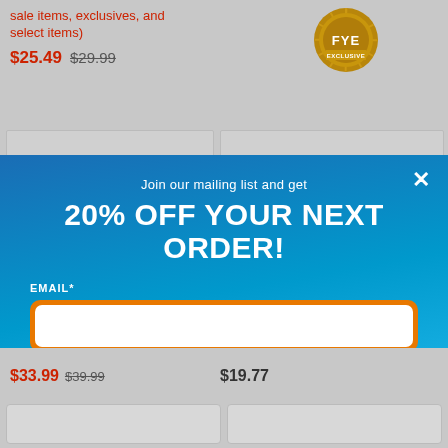sale items, exclusives, and select items)
$25.49  $29.99
[Figure (logo): FYE Exclusive badge — sunburst gold/orange circular badge with FYE text and EXCLUSIVE label]
Join our mailing list and get
20% OFF YOUR NEXT ORDER!
EMAIL*
SEND ME THE DISCOUNT
CONTINUE SHOPPING
Single use only. Excludes pre-orders, exclusives, sales items, and select other products.
$33.99  $39.99
$19.77